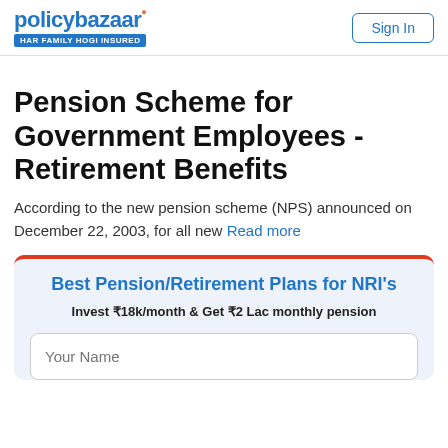policybazaar.com HAR FAMILY HOGI INSURED | Sign In
Pension Scheme for Government Employees - Retirement Benefits
According to the new pension scheme (NPS) announced on December 22, 2003, for all new Read more
Best Pension/Retirement Plans for NRI's
Invest ₹18k/month & Get ₹2 Lac monthly pension
Your Name